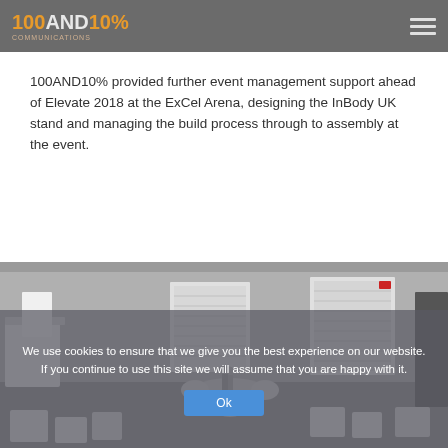100AND10%
100AND10% provided further event management support ahead of Elevate 2018 at the ExCel Arena, designing the InBody UK stand and managing the build process through to assembly at the event.
[Figure (photo): 3D rendering of an exhibition stand design for InBody UK, showing white display booths, seating area with round table, large poster displays on back wall, and modular white furniture pieces.]
We use cookies to ensure that we give you the best experience on our website. If you continue to use this site we will assume that you are happy with it.